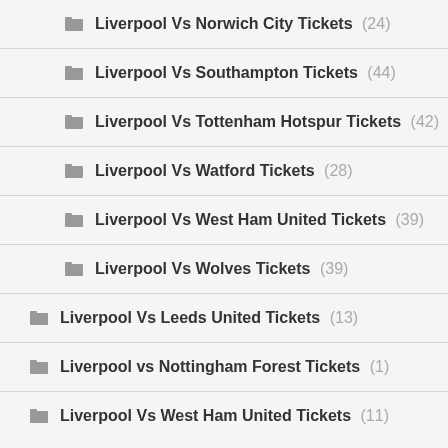Liverpool Vs Norwich City Tickets (24)
Liverpool Vs Southampton Tickets (44)
Liverpool Vs Tottenham Hotspur Tickets (42)
Liverpool Vs Watford Tickets (28)
Liverpool Vs West Ham United Tickets (39)
Liverpool Vs Wolves Tickets (39)
Liverpool Vs Leeds United Tickets (13)
Liverpool vs Nottingham Forest Tickets (1)
Liverpool Vs West Ham United Tickets (11)